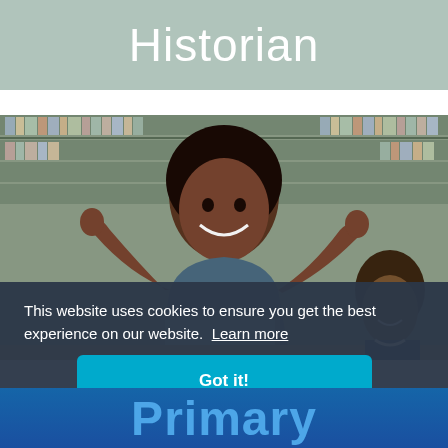Historian
[Figure (photo): A smiling young woman in a library with hands raised, surrounded by students and bookshelves]
This website uses cookies to ensure you get the best experience on our website. Learn more
Got it!
Primary